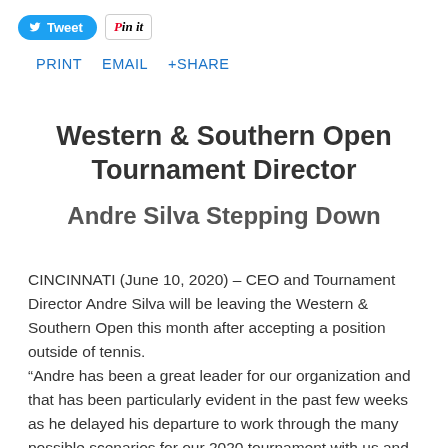[Figure (other): Social sharing buttons: Tweet button (blue), Pin it button, PRINT, EMAIL, +SHARE links]
Western & Southern Open Tournament Director
Andre Silva Stepping Down
CINCINNATI (June 10, 2020) – CEO and Tournament Director Andre Silva will be leaving the Western & Southern Open this month after accepting a position outside of tennis.
“Andre has been a great leader for our organization and that has been particularly evident in the past few weeks as he delayed his departure to work through the many possible scenarios for our 2020 tournament with us and our partners,” said Katie Haas